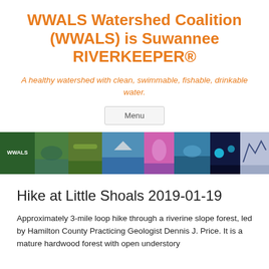WWALS Watershed Coalition (WWALS) is Suwannee RIVERKEEPER®
A healthy watershed with clean, swimmable, fishable, drinkable water.
Menu
[Figure (photo): Horizontal banner strip of multiple outdoor/kayaking/river activity photos including WWALS logo]
Hike at Little Shoals 2019-01-19
Approximately 3-mile loop hike through a riverine slope forest, led by Hamilton County Practicing Geologist Dennis J. Price. It is a mature hardwood forest with open understory